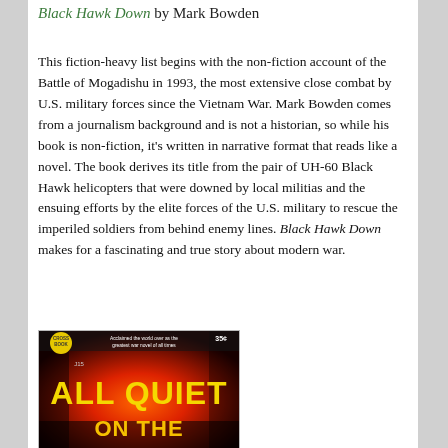Black Hawk Down by Mark Bowden
This fiction-heavy list begins with the non-fiction account of the Battle of Mogadishu in 1993, the most extensive close combat by U.S. military forces since the Vietnam War. Mark Bowden comes from a journalism background and is not a historian, so while his book is non-fiction, it’s written in narrative format that reads like a novel. The book derives its title from the pair of UH-60 Black Hawk helicopters that were downed by local militias and the ensuing efforts by the elite forces of the U.S. military to rescue the imperiled soldiers from behind enemy lines. Black Hawk Down makes for a fascinating and true story about modern war.
[Figure (photo): Book cover image for 'All Quiet on the Western Front' - a vintage paperback cover showing the title text 'ALL QUIET' in large bold yellow letters on a fiery red/orange background, with text at top reading 'Acclaimed the world over as the greatest war novel of all times' and a price of 35 cents, published by Crossbook.]